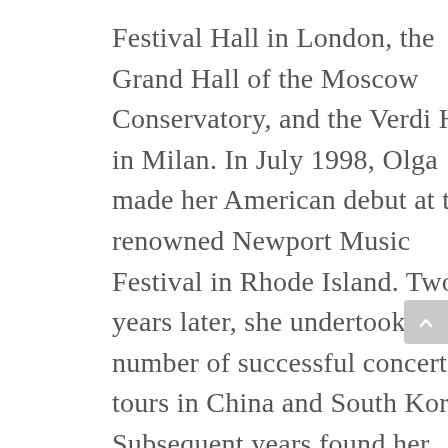Festival Hall in London, the Grand Hall of the Moscow Conservatory, and the Verdi Hall in Milan. In July 1998, Olga made her American debut at the renowned Newport Music Festival in Rhode Island. Two years later, she undertook a number of successful concert tours in China and South Korea. Subsequent years found her performing in some of the most prestigious concert venues in the world including Carnegie Hall, the Concertgebouw, the Salzburg “Mozarteum” and the Vienna Konzerthaus. She has toured extensively in Italy, Belgium, Japan, New Zealand and the United